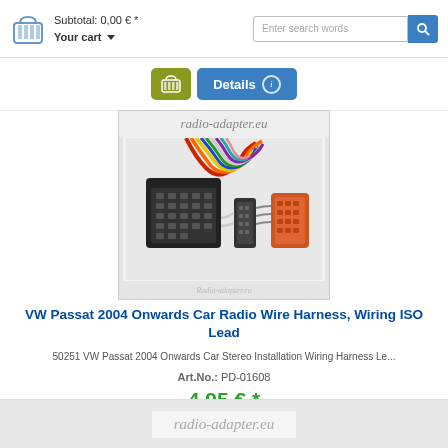Subtotal: 0,00 € * Your cart | Enter search words
[Figure (screenshot): Add to cart button (olive green) and Details button (blue) at top]
[Figure (photo): VW Passat car radio wire harness connector product photo with radio-adapter.eu watermark]
VW Passat 2004 Onwards Car Radio Wire Harness, Wiring ISO Lead
50251 VW Passat 2004 Onwards Car Stereo Installation Wiring Harness Le...
Art.No.: PD-01608
4,95 € *
[Figure (screenshot): Add to cart button (olive green) and Details button (blue) below price]
[Figure (logo): radio-adapter.eu watermark/logo at bottom of page]